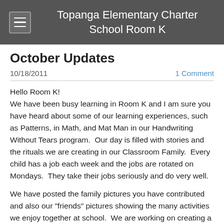Topanga Elementary Charter School Room K
October Updates
10/18/2011
1 Comment
Hello Room K!
We have been busy learning in Room K and I am sure you have heard about some of our learning experiences, such as Patterns, in Math, and Mat Man in our Handwriting Without Tears program.  Our day is filled with stories and the rituals we are creating in our Classroom Family.  Every child has a job each week and the jobs are rotated on Mondays.  They take their jobs seriously and do very well.
We have posted the family pictures you have contributed and also our "friends" pictures showing the many activities we enjoy together at school.  We are working on creating a loving, learning environment based on mutual respect.  This entails following our class rules:  Be Safe, Be Respectful and Be Responsible.  Please reinforce this at